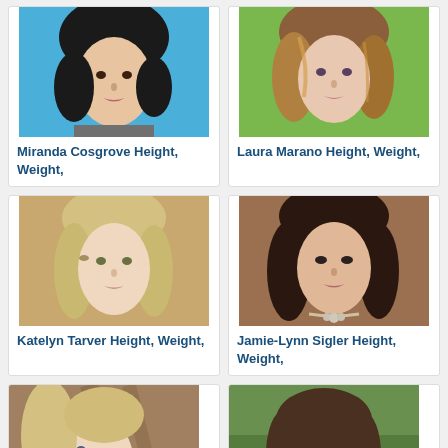[Figure (photo): Headshot of Miranda Cosgrove, young woman with dark hair, blue background]
Miranda Cosgrove Height, Weight,
[Figure (photo): Headshot of Laura Marano, woman with highlighted wavy hair, green outdoor background]
Laura Marano Height, Weight,
[Figure (photo): Headshot of Katelyn Tarver, blonde woman with long straight hair]
Katelyn Tarver Height, Weight,
[Figure (photo): Headshot of Jamie-Lynn Sigler, dark-haired woman wearing a necklace]
Jamie-Lynn Sigler Height, Weight,
[Figure (photo): Partial headshot of blonde woman at bottom left]
[Figure (photo): Partial headshot of brunette woman at bottom right, outdoor background]